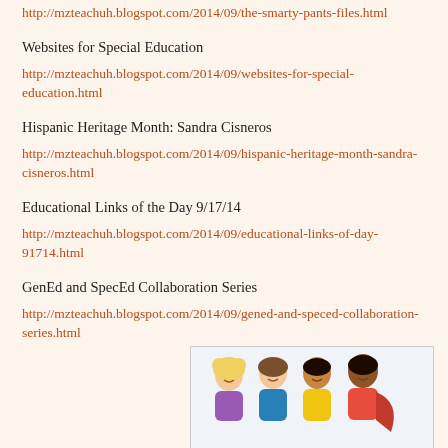http://mzteachuh.blogspot.com/2014/09/the-smarty-pants-files.html
Websites for Special Education
http://mzteachuh.blogspot.com/2014/09/websites-for-special-education.html
Hispanic Heritage Month: Sandra Cisneros
http://mzteachuh.blogspot.com/2014/09/hispanic-heritage-month-sandra-cisneros.html
Educational Links of the Day 9/17/14
http://mzteachuh.blogspot.com/2014/09/educational-links-of-day-91714.html
GenEd and SpecEd Collaboration Series
http://mzteachuh.blogspot.com/2014/09/gened-and-speced-collaboration-series.html
[Figure (illustration): Cartoon illustration of four diverse children/students standing together, smiling, wearing colorful outfits (purple, blue, yellow, red).]